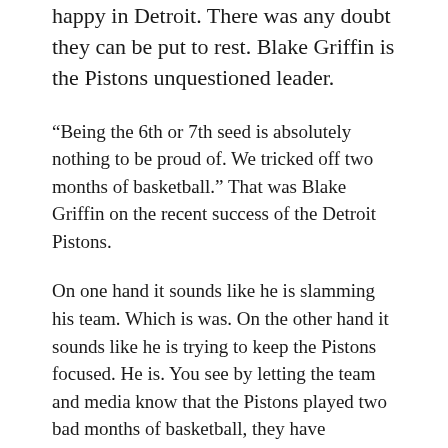happy in Detroit. There was any doubt they can be put to rest. Blake Griffin is the Pistons unquestioned leader.
“Being the 6th or 7th seed is absolutely nothing to be proud of. We tricked off two months of basketball.” That was Blake Griffin on the recent success of the Detroit Pistons.
On one hand it sounds like he is slamming his team. Which is was. On the other hand it sounds like he is trying to keep the Pistons focused. He is. You see by letting the team and media know that the Pistons played two bad months of basketball, they have somehow managed to climb back into the playoff picture.
That is what a good leader looks like. Acknowledging where they have been while keying in on where they want to be and are going. on Jan. 29 with the Pistons 7